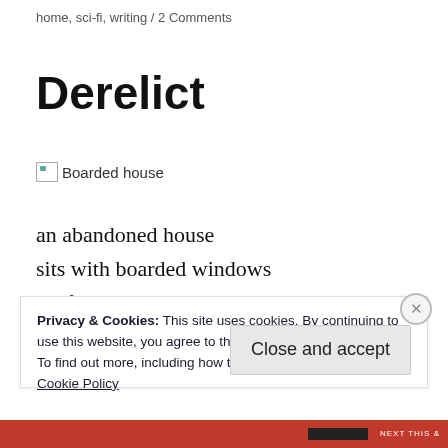home, sci-fi, writing / 2 Comments
Derelict
[Figure (photo): Broken/missing image placeholder labeled 'Boarded house']
an abandoned house
sits with boarded windows
as if its inhabitants might return
and sweep away the dust
Privacy & Cookies: This site uses cookies. By continuing to use this website, you agree to their use.
To find out more, including how to control cookies, see here:
Cookie Policy
Close and accept